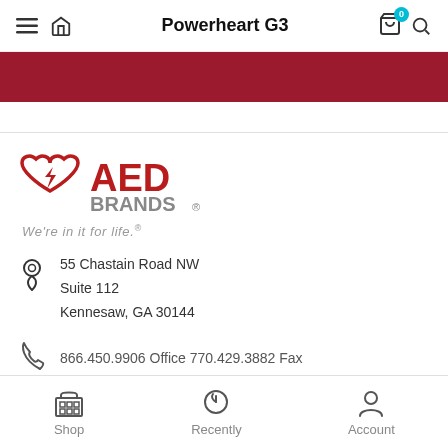Powerheart G3
[Figure (screenshot): Red banner strip]
[Figure (logo): AED Brands logo with heart and lightning bolt icon, red and gray text]
We're in it for life.
55 Chastain Road NW
Suite 112
Kennesaw, GA 30144
866.450.9906 Office 770.429.3882 Fax
Shop    Recently    Account